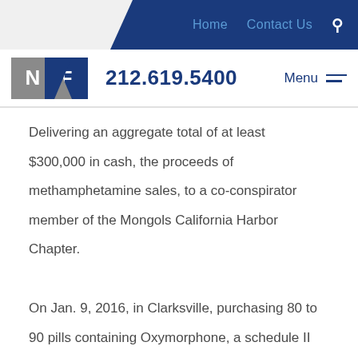Home  Contact Us  🔍
[Figure (logo): NF law firm logo with N in gray box and F in blue box, phone number 212.619.5400, Menu with hamburger icon]
Delivering an aggregate total of at least $300,000 in cash, the proceeds of methamphetamine sales, to a co-conspirator member of the Mongols California Harbor Chapter.
On Jan. 9, 2016, in Clarksville, purchasing 80 to 90 pills containing Oxymorphone, a schedule II